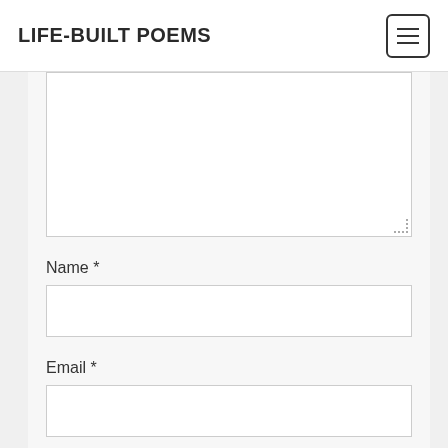LIFE-BUILT POEMS
[Figure (screenshot): Large textarea input field (comment box), partially shown at top of content area]
Name *
[Figure (screenshot): Name text input field]
Email *
[Figure (screenshot): Email text input field]